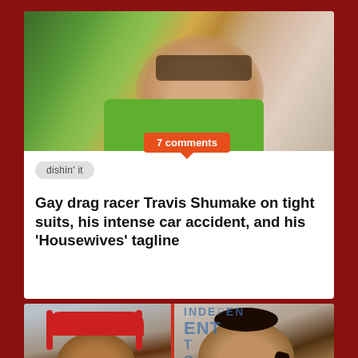[Figure (photo): Man with sunglasses lying in a hammock outdoors wearing a green shirt]
7 comments
dishin' it
Gay drag racer Travis Shumake on tight suits, his intense car accident, and his ‘Housewives’ tagline
[Figure (photo): Two women side by side: left woman wearing headphones in front of red background, right woman with braided hair at an event]
record makers